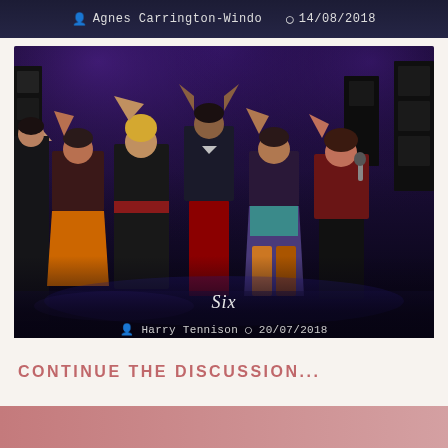Agnes Carrington-Windo  14/08/2018
[Figure (photo): Stage performance photo showing six performers on a darkly lit stage with purple/blue lighting. They are dressed in colorful outfits and appear to be singing and dancing. The image is captioned 'Six' with author Harry Tennison and date 20/07/2018.]
Six
Harry Tennison  20/07/2018
CONTINUE THE DISCUSSION...